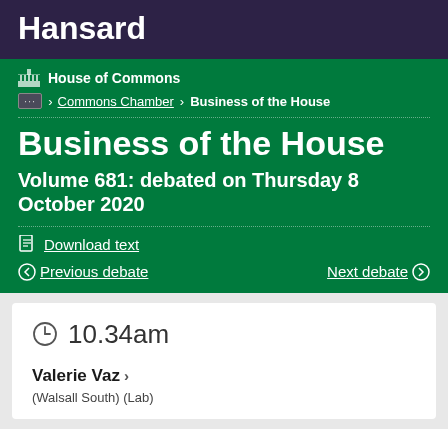Hansard
House of Commons
… > Commons Chamber > Business of the House
Business of the House
Volume 681: debated on Thursday 8 October 2020
Download text
Previous debate | Next debate
10.34am
Valerie Vaz >